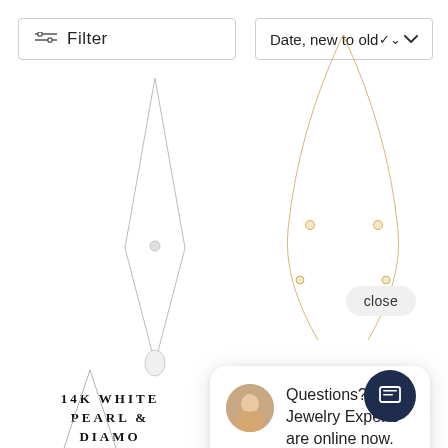[Figure (screenshot): Filter button with horizontal lines icon]
[Figure (screenshot): Sort dropdown: Date, new to old with chevron]
[Figure (photo): 14K white gold pearl and diamond convertible lariat necklace product photo]
[Figure (photo): Gold station necklace product photo]
14K WHITE PEARL & DIAMOND CONVERTIBLE LARIAT (.6
D ... W)
[Figure (screenshot): Close button pill]
[Figure (screenshot): Chat popup with advisor avatar and text: Questions? Our Jewelry Experts are online now.]
[Figure (screenshot): Navy blue chat circle button with phone/chat icon]